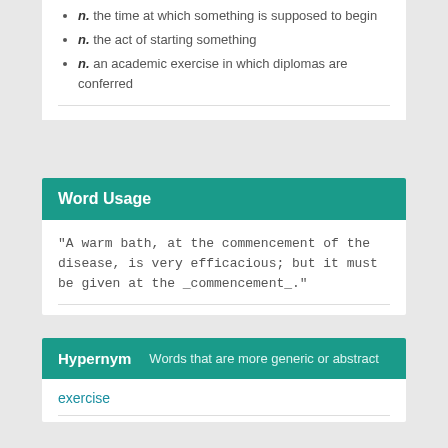n. the time at which something is supposed to begin
n. the act of starting something
n. an academic exercise in which diplomas are conferred
Word Usage
"A warm bath, at the commencement of the disease, is very efficacious; but it must be given at the _commencement_."
Hypernym   Words that are more generic or abstract
exercise